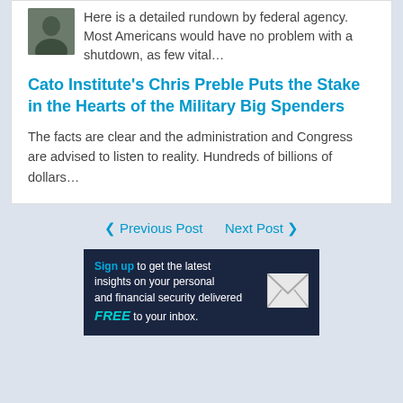Here is a detailed rundown by federal agency. Most Americans would have no problem with a shutdown, as few vital…
Cato Institute's Chris Preble Puts the Stake in the Hearts of the Military Big Spenders
The facts are clear and the administration and Congress are advised to listen to reality. Hundreds of billions of dollars…
◀ Previous Post   Next Post ▶
[Figure (infographic): Newsletter signup banner: 'Sign up to get the latest insights on your personal and financial security delivered FREE to your inbox.' with envelope icon, dark navy background with cyan and white text.]